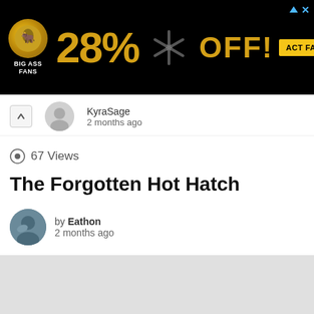[Figure (screenshot): Advertisement banner for Big Ass Fans: black background with logo, 28% OFF text in gold, ceiling fan image, ACT FAST! button in yellow]
by KyraSage
2 months ago
67 Views
The Forgotten Hot Hatch
by Eathon
2 months ago
[Figure (photo): Gray placeholder content image area]